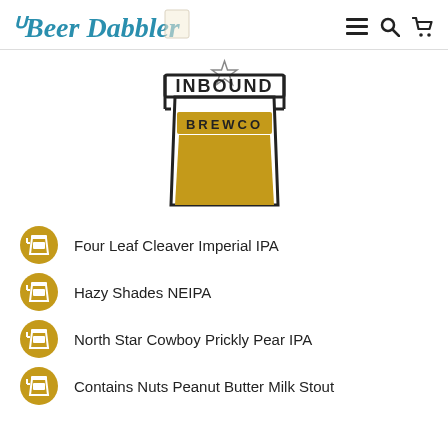Beer Dabbler
[Figure (logo): Inbound BrewCo logo: a beer glass outline with star, text INBOUND on top bar and BREWCO on a golden amber rectangle inside the glass shape]
Four Leaf Cleaver Imperial IPA
Hazy Shades NEIPA
North Star Cowboy Prickly Pear IPA
Contains Nuts Peanut Butter Milk Stout